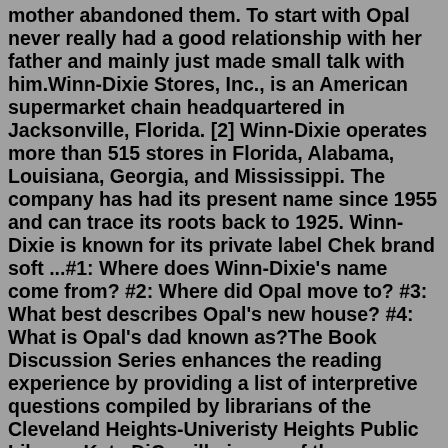mother abandoned them. To start with Opal never really had a good relationship with her father and mainly just made small talk with him.Winn-Dixie Stores, Inc., is an American supermarket chain headquartered in Jacksonville, Florida. [2] Winn-Dixie operates more than 515 stores in Florida, Alabama, Louisiana, Georgia, and Mississippi. The company has had its present name since 1955 and can trace its roots back to 1925. Winn-Dixie is known for its private label Chek brand soft ...#1: Where does Winn-Dixie's name come from? #2: Where did Opal move to? #3: What best describes Opal's new house? #4: What is Opal's dad known as?The Book Discussion Series enhances the reading experience by providing a list of interpretive questions compiled by librarians of the Cleveland Heights-Univeristy Heights Public Library. Kate DiCamillo is one of those authors who could win a literary biathalon with her eyes closed - she has written for a long, long time and is very accurate ...Lessons & Units. Books. Because of Winn-Dixie. Terms.The Book Discussion